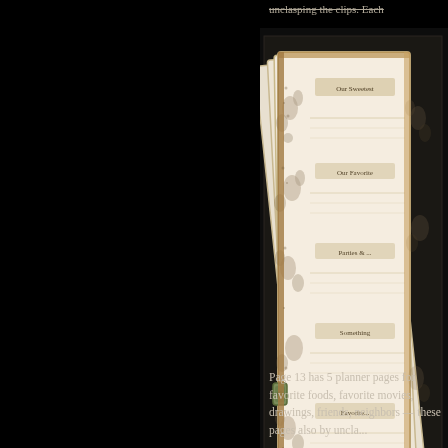unclasping the clips. Each
[Figure (photo): A decorative notebook or planner shown open, fanned out to display multiple pages. The cover and pages feature a floral/botanical pattern in muted tones with a clasp closure. The item is photographed against a black background.]
Page 13 has 5 planner pages for favorite foods, favorite movies, drawings, friends, neighbors — these pages also by uncla...